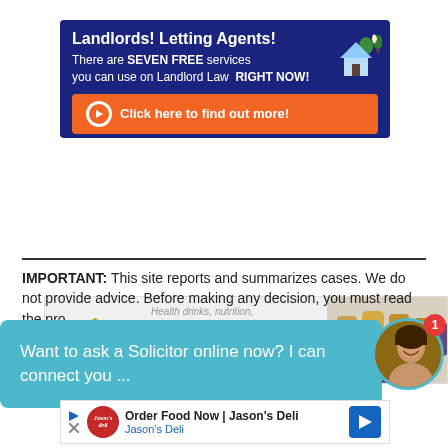[Figure (infographic): Dark blue banner ad for Landlord Law: 'Landlords! Letting Agents! There are SEVEN FREE services you can use on Landlord Law RIGHT NOW!' with orange 'Click here to find out more!' button and house icon]
[Figure (infographic): Forever Living Products banner showing golden eagle logo, text about health drinks, nutrition, skincare and weight-loss products, with product bottles on right and 'BUY NOW' overlay]
IMPORTANT: This site reports and summarizes cases. We do not provide advice. Before making any decision, you must read the pro...
[Figure (infographic): Teal chat widget: 'Want to ask a Solicitor online now? I can connect you ...' with female avatar photo and red badge showing '1']
[Figure (infographic): Bottom ad banner: 'Order Food Now | Jason's Deli' with Jason's Deli logo and blue arrow icon]